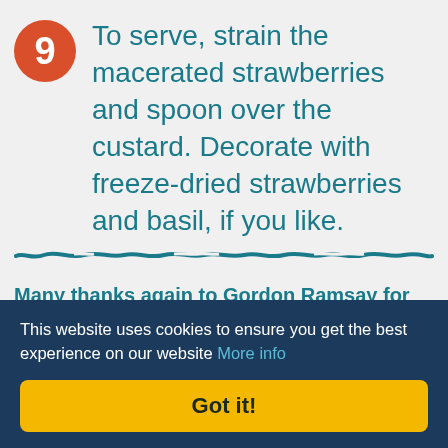9 To serve, strain the macerated strawberries and spoon over the custard. Decorate with freeze-dried strawberries and basil, if you like.
[Figure (illustration): A hand-drawn teal horizontal wavy divider line]
Many thanks again to Gordon Ramsay for sharing this recipe...
This website uses cookies to ensure you get the best experience on our website More info
Got it!